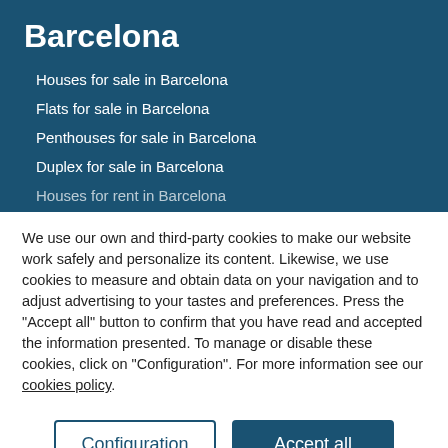Barcelona
Houses for sale in Barcelona
Flats for sale in Barcelona
Penthouses for sale in Barcelona
Duplex for sale in Barcelona
Houses for rent in Barcelona
We use our own and third-party cookies to make our website work safely and personalize its content. Likewise, we use cookies to measure and obtain data on your navigation and to adjust advertising to your tastes and preferences. Press the "Accept all" button to confirm that you have read and accepted the information presented. To manage or disable these cookies, click on "Configuration". For more information see our cookies policy.
Configuration
Accept all